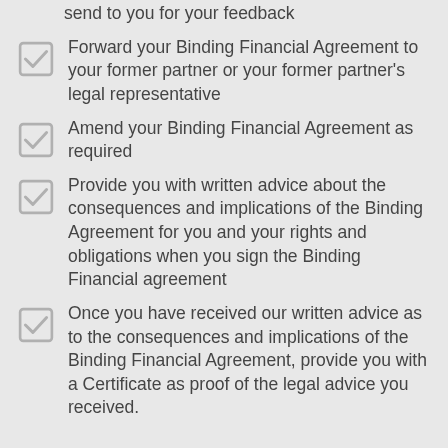send to you for your feedback
Forward your Binding Financial Agreement to your former partner or your former partner's legal representative
Amend your Binding Financial Agreement as required
Provide you with written advice about the consequences and implications of the Binding Agreement for you and your rights and obligations when you sign the Binding Financial agreement
Once you have received our written advice as to the consequences and implications of the Binding Financial Agreement, provide you with a Certificate as proof of the legal advice you received.